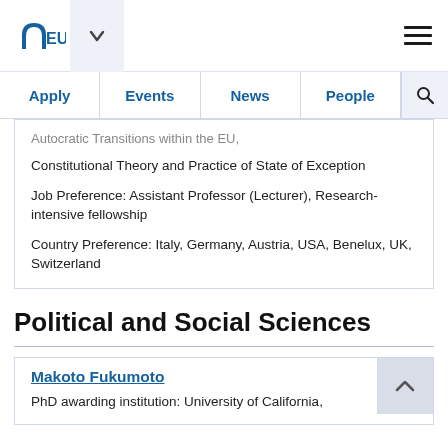EUI navigation: Apply, Events, News, People
Autocratic Transitions within the EU; Constitutional Theory and Practice of State of Exception

Job Preference: Assistant Professor (Lecturer), Research-intensive fellowship

Country Preference: Italy, Germany, Austria, USA, Benelux, UK, Switzerland
Political and Social Sciences
Makoto Fukumoto
PhD awarding institution: University of California,